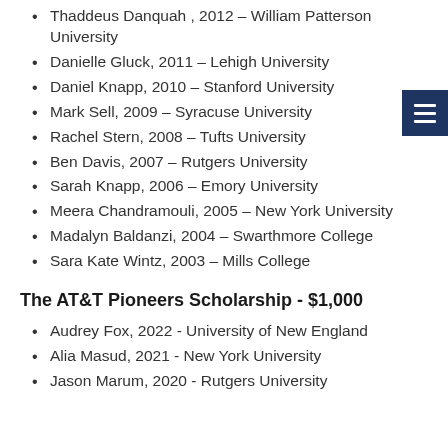Thaddeus Danquah , 2012 – William Patterson University
Danielle Gluck, 2011 – Lehigh University
Daniel Knapp, 2010 – Stanford University
Mark Sell, 2009 – Syracuse University
Rachel Stern, 2008 – Tufts University
Ben Davis, 2007 – Rutgers University
Sarah Knapp, 2006 – Emory University
Meera Chandramouli, 2005 – New York University
Madalyn Baldanzi, 2004 – Swarthmore College
Sara Kate Wintz, 2003 – Mills College
The AT&T Pioneers Scholarship - $1,000
Audrey Fox, 2022 - University of New England
Alia Masud, 2021 - New York University
Jason Marum, 2020 - Rutgers University